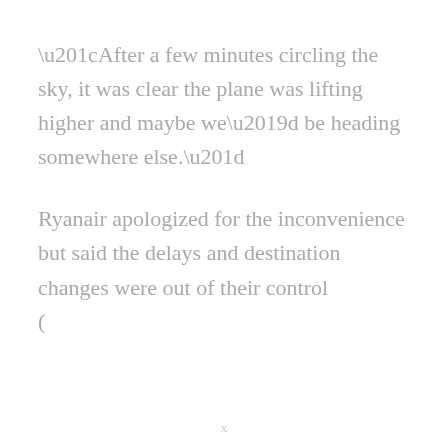“After a few minutes circling the sky, it was clear the plane was lifting higher and maybe we’d be heading somewhere else.”
Ryanair apologized for the inconvenience but said the delays and destination changes were out of their control
(